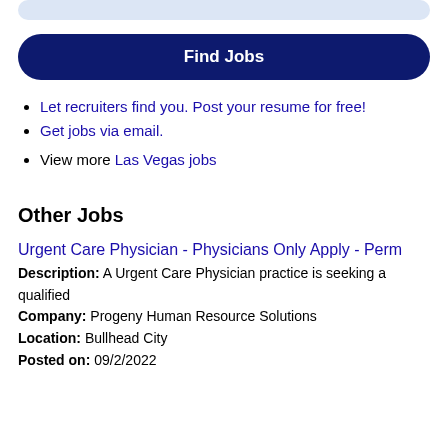[Figure (other): Light blue rounded search bar at top of page]
Find Jobs
Let recruiters find you. Post your resume for free!
Get jobs via email.
View more Las Vegas jobs
Other Jobs
Urgent Care Physician - Physicians Only Apply - Perm
Description: A Urgent Care Physician practice is seeking a qualified
Company: Progeny Human Resource Solutions
Location: Bullhead City
Posted on: 09/2/2022